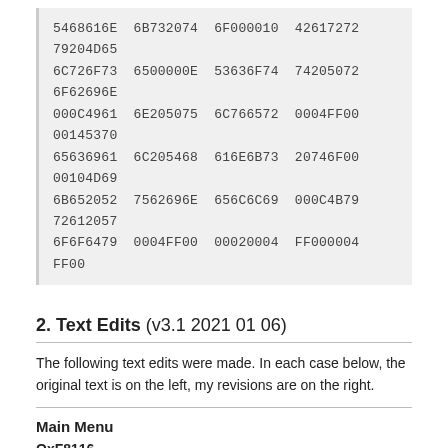5468616E 6B732074 6F000010 42617272 79204D65
6C726F73 6500000E 53636F74 74205072 6F62696E
000C4961 6E205075 6C766572 0004FF00 00145370
65636961 6C205468 616E6B73 20746F00 00104D69
6B652052 7562696E 656C6C69 000C4B79 72612057
6F6F6479 0004FF00 00020004 FF000004 FF00
2. Text Edits (v3.1 2021 01 06)
The following text edits were made. In each case below, the original text is on the left, my revisions are on the right.
Main Menu
OxF8116
Period Len. → Period Length